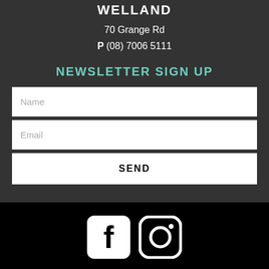WELLAND
70 Grange Rd
P (08) 7006 5111
NEWSLETTER SIGN UP
Name
Email
SEND
[Figure (infographic): Facebook and Instagram social media icons in white on black background]
© Copyright 2022 Salon Hair Care. All Rights Reserved. Design and Development by Web Ninja.